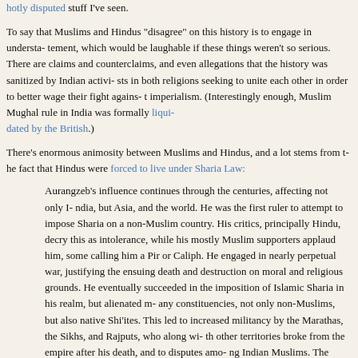hotly disputed stuff I've seen.
To say that Muslims and Hindus "disagree" on this history is to engage in understatement, which would be laughable if these things weren't so serious. There are claims and counterclaims, and even allegations that the history was sanitized by Indian activists in both religions seeking to unite each other in order to better wage their fight against imperialism. (Interestingly enough, Muslim Mughal rule in India was formally liquidated by the British.)
There's enormous animosity between Muslims and Hindus, and a lot stems from the fact that Hindus were forced to live under Sharia Law:
Aurangzeb's influence continues through the centuries, affecting not only India, but Asia, and the world. He was the first ruler to attempt to impose Sharia on a non-Muslim country. His critics, principally Hindu, decry this as intolerance, while his mostly Muslim supporters applaud him, some calling him a Pir or Caliph. He engaged in nearly perpetual war, justifying the ensuing death and destruction on moral and religious grounds. He eventually succeeded in the imposition of Islamic Sharia in his realm, but alienated many constituencies, not only non-Muslims, but also native Shi'ites. This led to increased militancy by the Marathas, the Sikhs, and Rajputs, who along with other territories broke from the empire after his death, and to disputes among Indian Muslims. The wanton and ruthless destruction of countless Hindu temples remains a dark stain on Muslim/Hindu relations to this day. His one-pointed devotion to conquest and control based on his personal worldview has continuing resonance in our current world.
Sigh.
But I neglect Hezbollah, Israel, and Lebanon.
I'd say there more fronts than most of us want to imagine or admit in what I won't stop imagining is a war.